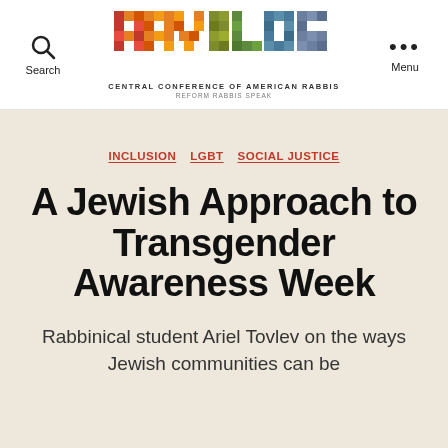[Figure (logo): RAVBLOG logo — colorful mosaic pixel-art letters spelling RAVBLOG with Central Conference of American Rabbis / Reform Rabbis Speak subtitle]
Search | CENTRAL CONFERENCE OF AMERICAN RABBIS REFORM RABBIS SPEAK | Menu
INCLUSION  LGBT  SOCIAL JUSTICE
A Jewish Approach to Transgender Awareness Week
Rabbinical student Ariel Tovlev on the ways Jewish communities can be